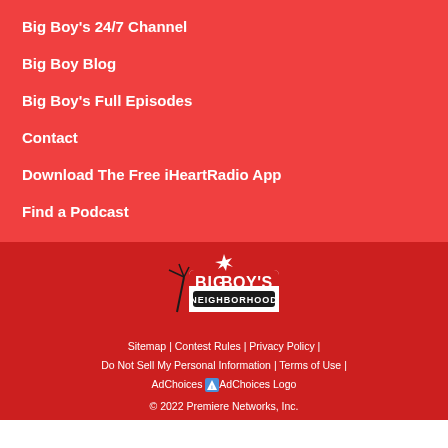Big Boy's 24/7 Channel
Big Boy Blog
Big Boy's Full Episodes
Contact
Download The Free iHeartRadio App
Find a Podcast
[Figure (logo): Big Boy's Neighborhood logo with palm trees and banner text]
Sitemap | Contest Rules | Privacy Policy | Do Not Sell My Personal Information | Terms of Use | AdChoices AdChoices Logo
© 2022 Premiere Networks, Inc.